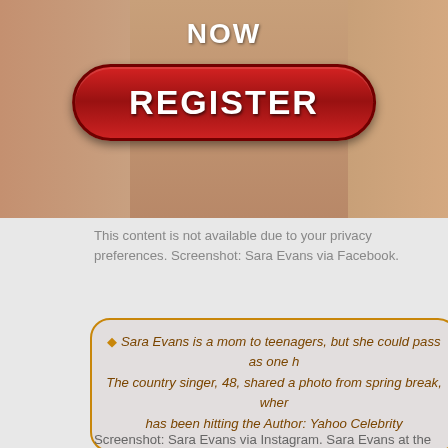[Figure (photo): Banner image with two women in bikinis and a red REGISTER NOW button in the center]
This content is not available due to your privacy preferences. Screenshot: Sara Evans via Facebook.
◆ Sara Evans is a mom to teenagers, but she could pass as one h... The country singer, 48, shared a photo from spring break, wher... has been hitting the Author: Yahoo Celebrity
Screenshot: Sara Evans via Instagram. Sara Evans at the CMT Artists of the Year at Schermerhorn Symphony Center on October 17, Photo: Getty Images.
◆ The teen asked Greene if she was "kinky," according to police... reportedly replied, "I don't tell; I show." At the end of the schoo... while other students were attending a pep rally, the year-ol... reportedly went back to the classroom, and that's when the in...